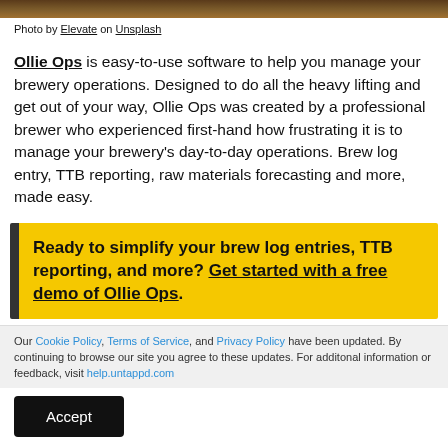[Figure (photo): Partial strip of a photo at the top of the page (brewery/bar scene)]
Photo by Elevate on Unsplash
Ollie Ops is easy-to-use software to help you manage your brewery operations. Designed to do all the heavy lifting and get out of your way, Ollie Ops was created by a professional brewer who experienced first-hand how frustrating it is to manage your brewery’s day-to-day operations. Brew log entry, TTB reporting, raw materials forecasting and more, made easy.
Ready to simplify your brew log entries, TTB reporting, and more? Get started with a free demo of Ollie Ops.
Our Cookie Policy, Terms of Service, and Privacy Policy have been updated. By continuing to browse our site you agree to these updates. For additonal information or feedback, visit help.untappd.com
Accept